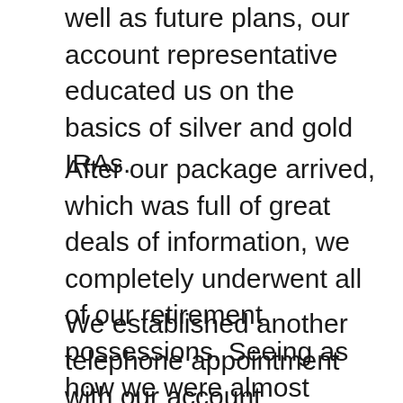well as future plans, our account representative educated us on the basics of silver and gold IRAs.
After our package arrived, which was full of great deals of information, we completely underwent all of our retirement possessions. Seeing as how we were almost 100% purchased the stock exchange and nearing retired life, we chose a precious metals IRA would certainly benefit us.
We established another telephone appointment with our account representative and he patiently walked us through the remainder of the procedure. We had an old IRA that we chose to move right into a gold IRA. He dealt with all the paperwork and got